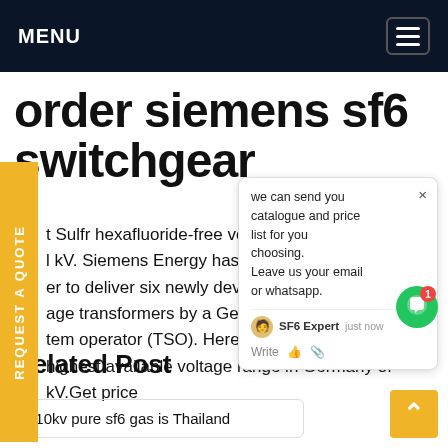MENU
order siemens sf6 switchgear
t Sulfr hexafluoride-free voltage rs for l kV. Siemens Energy has been av st er to deliver six newly developed l age transformers by a Gern l tem operator (TSO). Hereby Blue nter highest available voltage range in Germany of kV.Get price
[Figure (screenshot): Chat popup widget with message: 'we can send you catalogue and price list for you choosing. Leave us your email or whatsapp.' with SF6 Expert agent label, 'just now' timestamp, and write/like/attach icons. Green chat bubble with notification badge showing 1.]
Related Post
110kv pure sf6 gas is Thailand